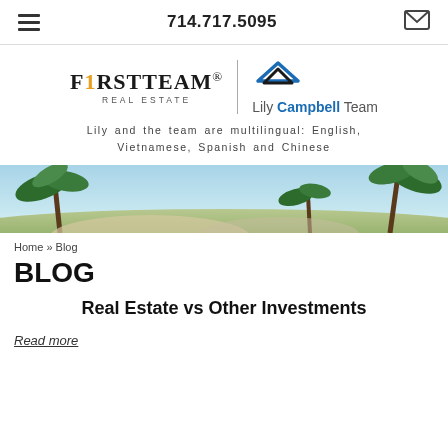714.717.5095
[Figure (logo): FirstTeam Real Estate logo and Lily Campbell Team logo side by side with vertical divider]
Lily and the team are multilingual: English, Vietnamese, Spanish and Chinese
[Figure (photo): Tropical beach banner with palm trees and blue sky]
Home » Blog
BLOG
Real Estate vs Other Investments
Read more